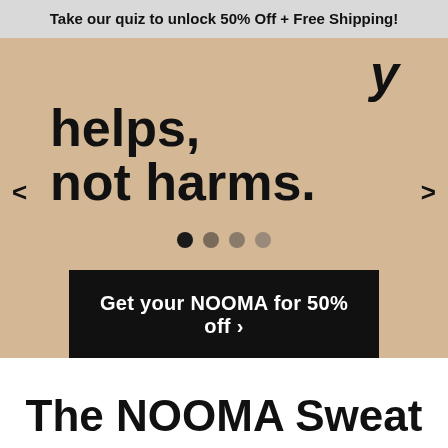Take our quiz to unlock 50% Off + Free Shipping!
[Figure (screenshot): Promotional hero banner with tan/beige background showing partial text 'helps, not harms.' with carousel navigation arrows, dots, and a black CTA button reading 'Get your NOOMA for 50% off >']
The NOOMA Sweat